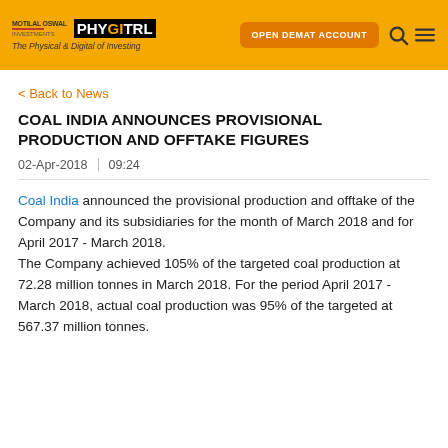Motilal Oswal PHYGITRL — The Physical & Digital of Investing | OPEN DEMAT ACCOUNT
< Back to News
COAL INDIA ANNOUNCES PROVISIONAL PRODUCTION AND OFFTAKE FIGURES
02-Apr-2018 | 09:24
Coal India announced the provisional production and offtake of the Company and its subsidiaries for the month of March 2018 and for April 2017 - March 2018. The Company achieved 105% of the targeted coal production at 72.28 million tonnes in March 2018. For the period April 2017 - March 2018, actual coal production was 95% of the targeted at 567.37 million tonnes.